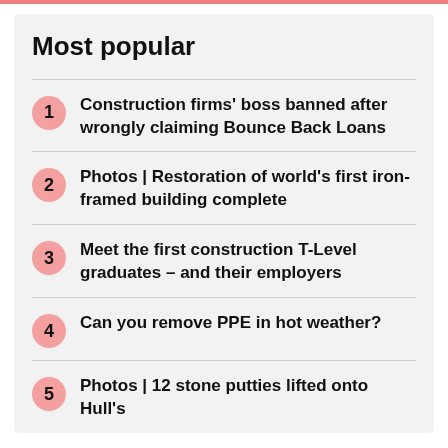Most popular
Construction firms' boss banned after wrongly claiming Bounce Back Loans
Photos | Restoration of world's first iron-framed building complete
Meet the first construction T-Level graduates – and their employers
Can you remove PPE in hot weather?
Photos | 12 stone putties lifted onto Hull's…